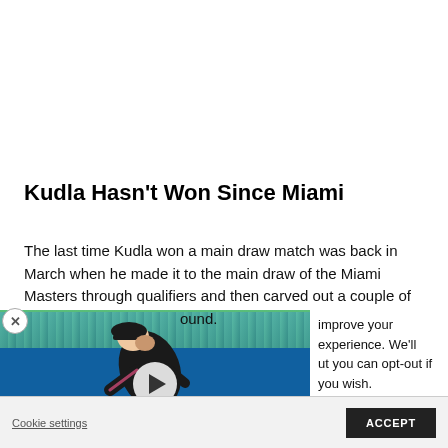Kudla Hasn't Won Since Miami
The last time Kudla won a main draw match was back in March when he made it to the main draw of the Miami Masters through qualifiers and then carved out a couple of wins to reach the third round.
[Figure (screenshot): Video thumbnail showing a female tennis player bending over on a blue court surface, with a play button overlay and partial brand text 'theri' visible. A score bar is at the bottom showing match details.]
improve your experience. We'll ut you can opt-out if you wish.
Cookie settings
ACCEPT